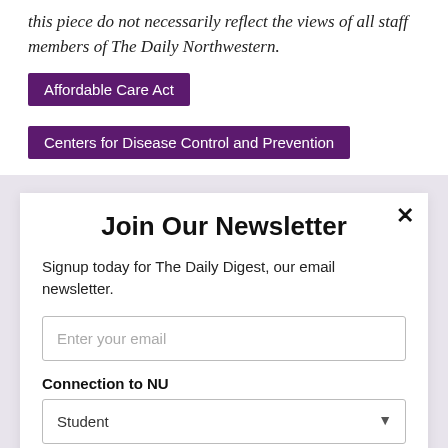this piece do not necessarily reflect the views of all staff members of The Daily Northwestern.
Affordable Care Act
Centers for Disease Control and Prevention
Join Our Newsletter
Signup today for The Daily Digest, our email newsletter.
Enter your email
Connection to NU
Student
Subscribe